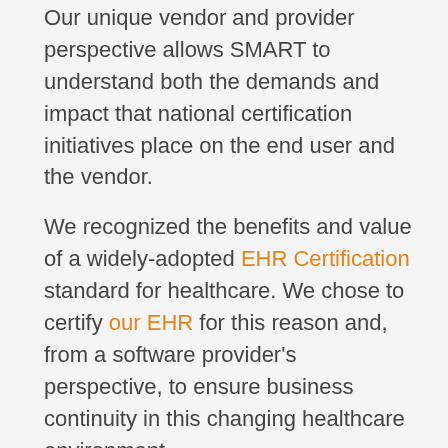Our unique vendor and provider perspective allows SMART to understand both the demands and impact that national certification initiatives place on the end user and the vendor.
We recognized the benefits and value of a widely-adopted EHR Certification standard for healthcare. We chose to certify our EHR for this reason and, from a software provider’s perspective, to ensure business continuity in this changing healthcare environment.
In the substance abuse treatment sector, IT functionality has been fragmented at best. Even today, with many EHR solutions available, there is a wide range of implementations from